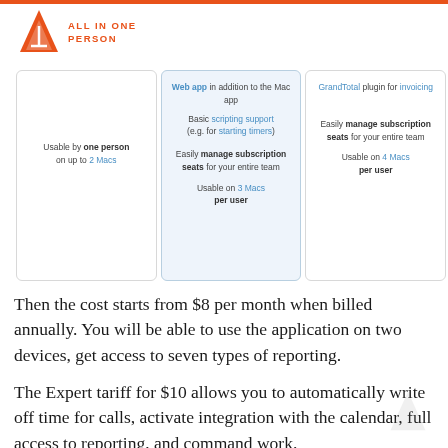[Figure (logo): All In One Person logo with orange triangle/A icon and orange text ALL IN ONE PERSON]
| Card 1 | Card 2 (Middle) | Card 3 |
| --- | --- | --- |
| Usable by one person on up to 2 Macs | Web app in addition to the Mac app
Basic scripting support (e.g. for starting timers)
Easily manage subscription seats for your entire team
Usable on 3 Macs per user | GrandTotal plugin for invoicing
Easily manage subscription seats for your entire team
Usable on 4 Macs per user |
Then the cost starts from $8 per month when billed annually. You will be able to use the application on two devices, get access to seven types of reporting.
The Expert tariff for $10 allows you to automatically write off time for calls, activate integration with the calendar, full access to reporting, and command work.